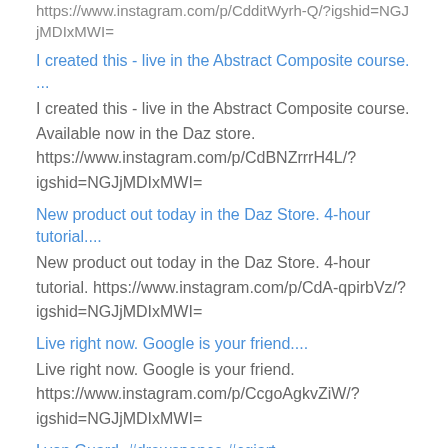https://www.instagram.com/p/CdditWyrh-Q/?igshid=NGJjMDIxMWI=
I created this - live in the Abstract Composite course. ...
I created this - live in the Abstract Composite course. Available now in the Daz store. https://www.instagram.com/p/CdBNZrrrH4L/?igshid=NGJjMDIxMWI=
New product out today in the Daz Store. 4-hour tutorial....
New product out today in the Daz Store. 4-hour tutorial. https://www.instagram.com/p/CdA-qpirbVz/?igshid=NGJjMDIxMWI=
Live right now. Google is your friend....
Live right now. Google is your friend. https://www.instagram.com/p/CcgoAgkvZiW/?igshid=NGJjMDIxMWI=
Lyon Guard. #drewspence #cgiart #lionsandtigersandbearsohmy...
Lyon Guard. #drewspence #cgiart #lionsandtigersandbearsohmy #scifiart #dazstudio https://www.instagram.com/p/CaeQTaQu9A2/?utm_medium=tumblr
Machine Inspector Rikkah Shamel #drewspence #dazstudio #cgi...
Machine Inspector Rikkah Shamel #drewspence #dazstudio #cgi #cyberpunk https://www.instagram.com/p/Cad65vzMbJn/?utm_medium=tumblr
“Soldier Light Girl” #drewspence #dazstudio #soldiergirl #cgiart...